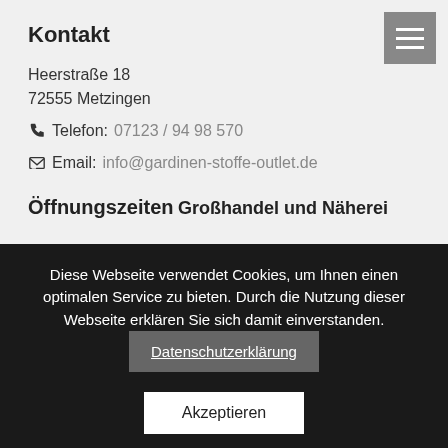Kontakt
Heerstraße 18
72555 Metzingen
Telefon: 07123 / 94 98 570
Email: info@gardinen-stoffe-outlet.de
Öffnungszeiten
Großhandel und Näherei
Diese Webseite verwendet Cookies, um Ihnen einen optimalen Service zu bieten. Durch die Nutzung dieser Webseite erklären Sie sich damit einverstanden. Datenschutzerklärung
Akzeptieren